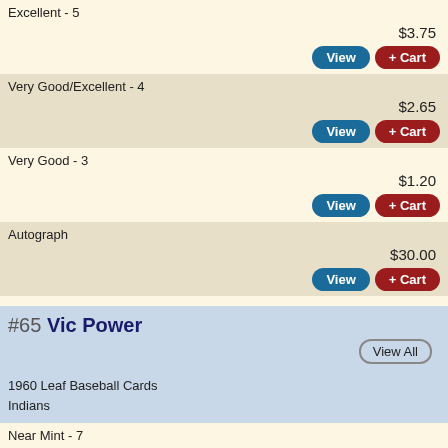Excellent - 5
$3.75
View | + Cart
Very Good/Excellent - 4
$2.65
View | + Cart
Very Good - 3
$1.20
View | + Cart
Autograph
$30.00
View | + Cart
#65 Vic Power
1960 Leaf Baseball Cards
Indians
Near Mint - 7
$45.00
View | + Cart
Excellent/Mint+ - 6.5
$36.00
View | + Cart